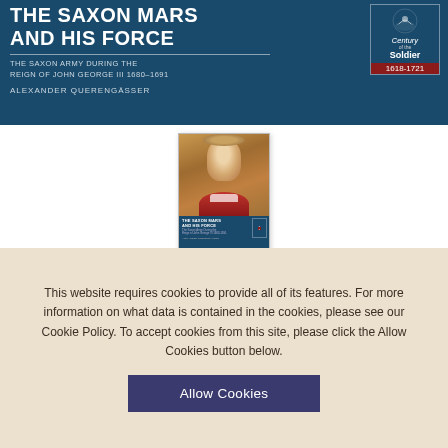[Figure (illustration): Book cover banner for 'The Saxon Mars and His Force' by Alexander Querengässer, part of the Century of the Soldier 1618-1721 series, with dark teal/navy background, white bold title text, subtitle 'The Saxon Army During the Reign of John George III 1680-1691', author name, and a Century of the Soldier badge with a mounted soldier icon on the right.]
[Figure (photo): Thumbnail image of the same book cover showing a portrait painting of a nobleman in red robes at the top half, and the book title/details in the bottom half on navy background.]
This website requires cookies to provide all of its features. For more information on what data is contained in the cookies, please see our Cookie Policy. To accept cookies from this site, please click the Allow Cookies button below.